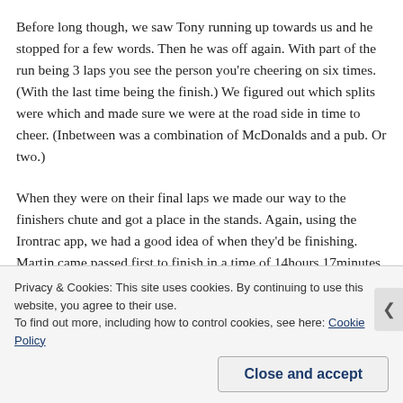Before long though, we saw Tony running up towards us and he stopped for a few words. Then he was off again. With part of the run being 3 laps you see the person you're cheering on six times. (With the last time being the finish.) We figured out which splits were which and made sure we were at the road side in time to cheer. (Inbetween was a combination of McDonalds and a pub. Or two.)
When they were on their final laps we made our way to the finishers chute and got a place in the stands. Again, using the Irontrac app, we had a good idea of when they'd be finishing. Martin came passed first to finish in a time of 14hours 17minutes. As we were waiting for Tony, the big screen below didn't find it first till ft
Privacy & Cookies: This site uses cookies. By continuing to use this website, you agree to their use.
To find out more, including how to control cookies, see here: Cookie Policy